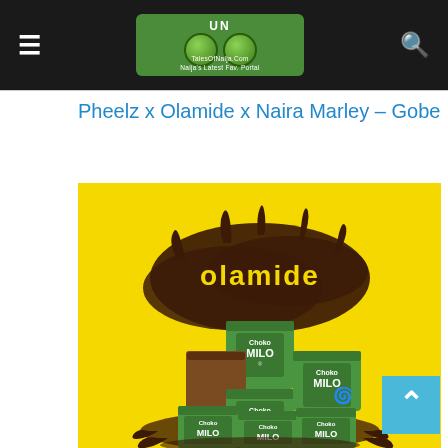TalesOfNaija.com - header navigation with hamburger menu, logo, and search icon
Pheelz x Olamide x Naira Marley – Gobe
[Figure (photo): Olamide music album art with yellow background, chocolate/milo splash, stacked Choko Milo boxes in green and brown, and 'olamide' text logo in yellow against the chocolate splash]
[Figure (other): Scroll to top button (cyan/teal square with upward caret arrow)]